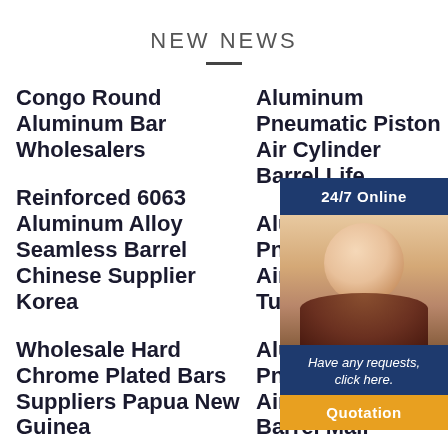NEW NEWS
Congo Round Aluminum Bar Wholesalers
Reinforced 6063 Aluminum Alloy Seamless Barrel Chinese Supplier Korea
Wholesale Hard Chrome Plated Bars Suppliers Papua New Guinea
Aluminum Pneumatic Piston Air Cylinder Barrel Life
Aluminum Pneumatic Piston Air Cylinder Tube Suppliers
Aluminum Pneumatic Piston Air Cylinder Barrel Mali
Aluminum Pneumatic Piston Air Cylinder Barrel Suppliers
[Figure (photo): 24/7 online customer service widget with a smiling female agent wearing a headset, a dark blue header bar reading '24/7 Online', a dark blue message box reading 'Have any requests, click here.' and an orange 'Quotation' button.]